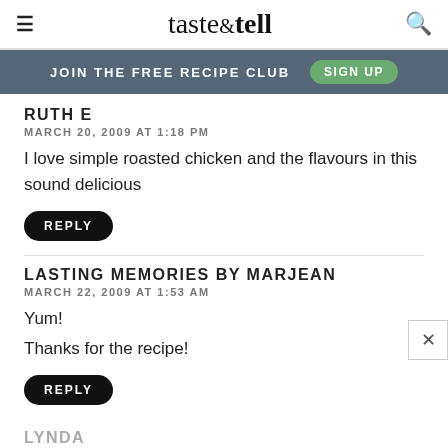taste & tell
JOIN THE FREE RECIPE CLUB   SIGN UP
RUTH E
MARCH 20, 2009 AT 1:18 PM
I love simple roasted chicken and the flavours in this sound delicious
REPLY
LASTING MEMORIES BY MARJEAN
MARCH 22, 2009 AT 1:53 AM
Yum!

Thanks for the recipe!
REPLY
LYNDA
MARCH 23, 2009 AT 7:16 PM